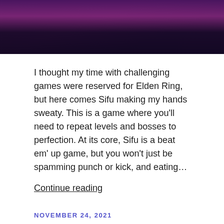[Figure (photo): Dark purple/magenta toned photo, appears to be a person in a dark environment with pink/purple lighting.]
I thought my time with challenging games were reserved for Elden Ring, but here comes Sifu making my hands sweaty. This is a game where you'll need to repeat levels and bosses to perfection. At its core, Sifu is a beat em' up game, but you won't just be spamming punch or kick, and eating…
Continue reading
NOVEMBER 24, 2021
BLACK FRIDAY DEALS [Review Round-Up]: GeeksWantGames,